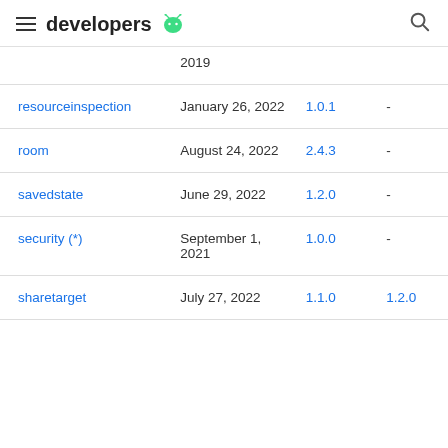developers
| Library | Latest update | Stable release | Release candidate |
| --- | --- | --- | --- |
|  | 2019 |  |  |
| resourceinspection | January 26, 2022 | 1.0.1 | - |
| room | August 24, 2022 | 2.4.3 | - |
| savedstate | June 29, 2022 | 1.2.0 | - |
| security (*) | September 1, 2021 | 1.0.0 | - |
| sharetarget | July 27, 2022 | 1.1.0 | 1.2.0 |